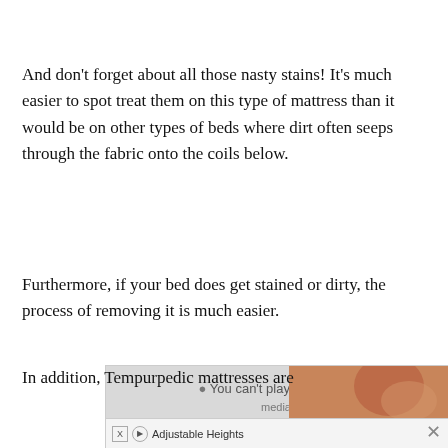And don't forget about all those nasty stains! It's much easier to spot treat them on this type of mattress than it would be on other types of beds where dirt often seeps through the fabric onto the coils below.
Furthermore, if your bed does get stained or dirty, the process of removing it is much easier.
In addition, Tempurpedic mattresses are
[Figure (screenshot): Advertisement overlay showing media content notice and an 'Adjustable Heights' ad with close button and X/play icons]